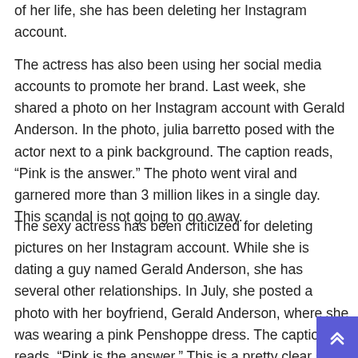of her life, she has been deleting her Instagram account.
The actress has also been using her social media accounts to promote her brand. Last week, she shared a photo on her Instagram account with Gerald Anderson. In the photo, julia barretto posed with the actor next to a pink background. The caption reads, “Pink is the answer.” The photo went viral and garnered more than 3 million likes in a single day. This scandal is not going to go away.
The sexy actress has been criticized for deleting pictures on her Instagram account. While she is dating a guy named Gerald Anderson, she has several other relationships. In July, she posted a photo with her boyfriend, Gerald Anderson, where she was wearing a pink Penshoppe dress. The caption reads, “Pink is the answer.” This is a pretty clear sign that the relationship